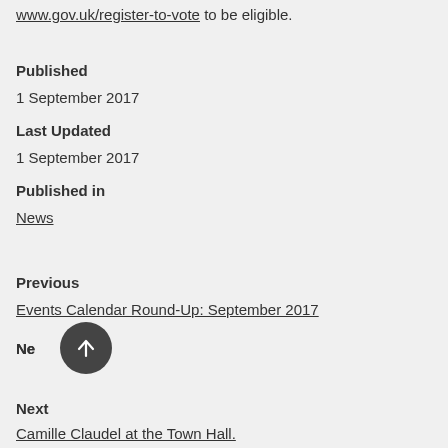www.gov.uk/register-to-vote to be eligible.
Published
1 September 2017
Last Updated
1 September 2017
Published in
News
Previous
Events Calendar Round-Up: September 2017
Next
Camille Claudel at the Town Hall.